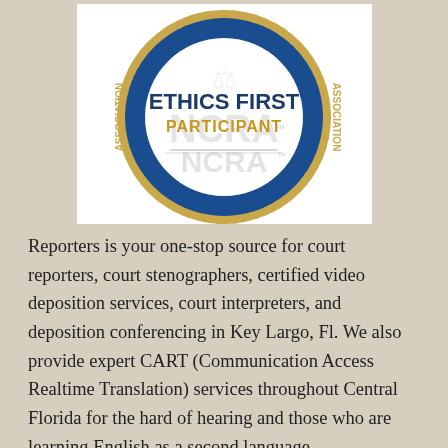[Figure (logo): NCRA Ethics First Participant circular badge/seal. Blue circular border with gold text reading 'NATIONAL COURT REPORTERS ASSOCIATION' around the outside. White inner circle with dark blue bold text 'ETHICS FIRST' and gold bold text 'PARTICIPANT' below it. Gray NCRA logo watermark in background. Bottom half of circle text appears inverted.]
Reporters is your one-stop source for court reporters, court stenographers, certified video deposition services, court interpreters, and deposition conferencing in Key Largo, Fl. We also provide expert CART (Communication Access Realtime Translation) services throughout Central Florida for the hard of hearing and those who are learning English as a second language.